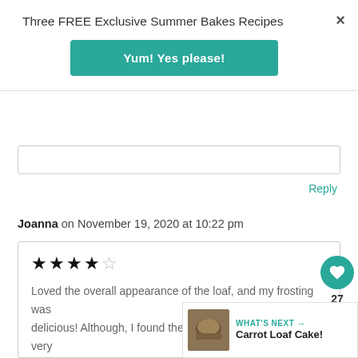Three FREE Exclusive Summer Bakes Recipes
Yum! Yes please!
Reply
Joanna on November 19, 2020 at 10:22 pm
Loved the overall appearance of the loaf, and my frosting was delicious! Although, I found the outside of the cake was very bitter! The inside (the actual spongey cake) was positively scrummy! Is the bitterness due to too much bi-carb/food colouring? I used sugarflair too!